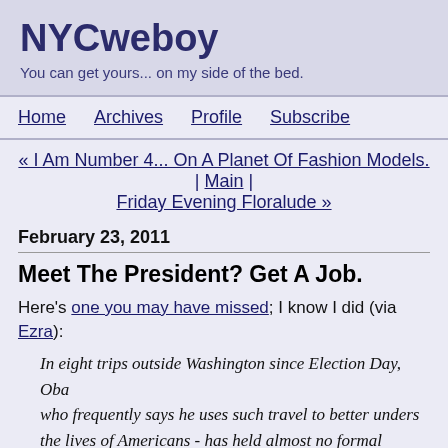NYCweboy
You can get yours... on my side of the bed.
Home | Archives | Profile | Subscribe
« I Am Number 4... On A Planet Of Fashion Models. | Main | Friday Evening Floralude »
February 23, 2011
Meet The President? Get A Job.
Here's one you may have missed; I know I did (via Ezra):
In eight trips outside Washington since Election Day, Oba... who frequently says he uses such travel to better unders... the lives of Americans - has held almost no formal meetin... with groups of unemployed people or organizations that advocate for them.